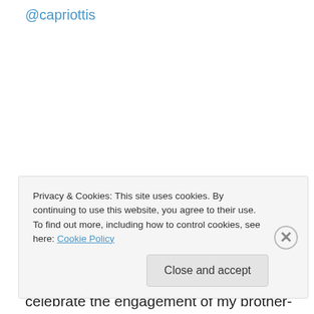@capriottis
The primary reason for this trip was to celebrate the engagement of my brother-in-law Lee, bachelor party style. Congratulations bro!!!
[Figure (photo): Small broken image icon placeholder thumbnail]
Da boyz celebrating Lee's final days as a single
Privacy & Cookies: This site uses cookies. By continuing to use this website, you agree to their use.
To find out more, including how to control cookies, see here: Cookie Policy
Close and accept